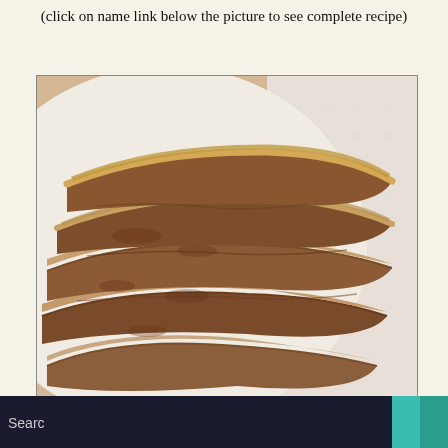(click on name link below the picture to see complete recipe)
[Figure (photo): A stack of fried pork belly slices with crispy coating, arranged on a white paper towel or white plate. The meat shows layered fat and crispy browned exterior.]
Search